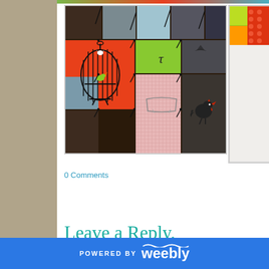[Figure (photo): Colorful patchwork quilt with bird cage applique on orange patch, bird patch, pink gingham patch, and various colored fabric squares. Dark background fabric with green, gray, orange patches.]
[Figure (photo): Partially visible right-side thumbnail showing colorful patchwork or textile with red dot pattern on green/yellow fabric.]
0 Comments
Leave a Reply.
POWERED BY weebly